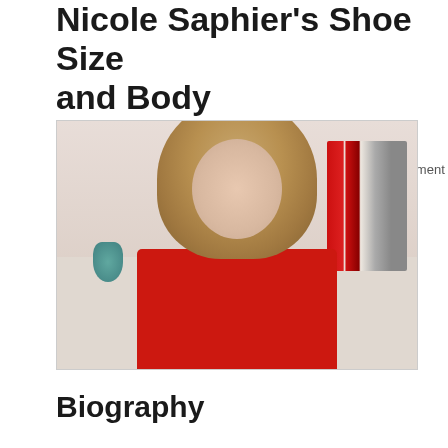Nicole Saphier's Shoe Size and Body Measurements
November 20, 2019  -  by CelebrityShoeSize  -  Leave a Comment
[Figure (photo): Photo of Nicole Saphier smiling, wearing a red jacket, with bookshelves visible in the background]
Biography